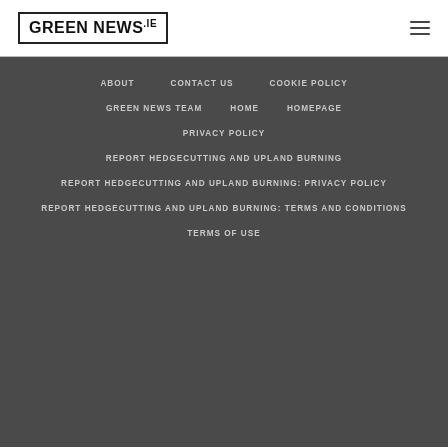[Figure (logo): Green News .ie logo in a bordered box]
ABOUT
CONTACT US
COOKIE POLICY
GREEN NEWS TEAM
HOME
HOMEPAGE
PRIVACY POLICY
REPORT HEDGECUTTING AND UPLAND BURNING
REPORT HEDGECUTTING AND UPLAND BURNING: PRIVACY POLICY
REPORT HEDGECUTTING AND UPLAND BURNING: TERMS AND CONDITIONS
TERMS OF USE